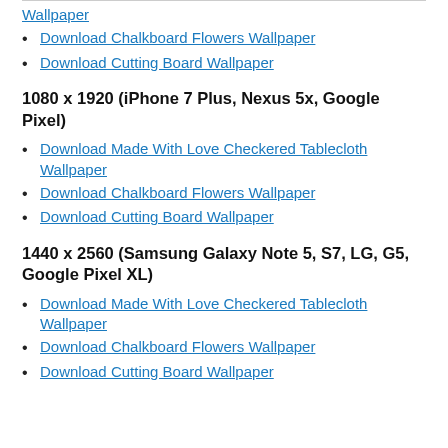Wallpaper
Download Chalkboard Flowers Wallpaper
Download Cutting Board Wallpaper
1080 x 1920 (iPhone 7 Plus, Nexus 5x, Google Pixel)
Download Made With Love Checkered Tablecloth Wallpaper
Download Chalkboard Flowers Wallpaper
Download Cutting Board Wallpaper
1440 x 2560 (Samsung Galaxy Note 5, S7, LG, G5, Google Pixel XL)
Download Made With Love Checkered Tablecloth Wallpaper
Download Chalkboard Flowers Wallpaper
Download Cutting Board Wallpaper